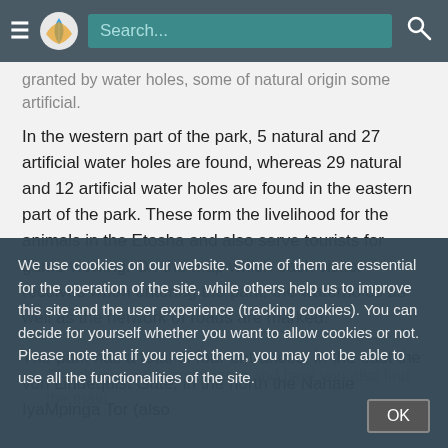Search...
granted by water holes, some of natural origin some artificial.
In the western part of the park, 5 natural and 27 artificial water holes are found, whereas 29 natural and 12 artificial water holes are found in the eastern part of the park. These form the livelihood for the animals in the Etosha and also serve tourists for game viewing. On the map which each visitor receives when entering the park, the waterholes as well as the network of roads are marked.
The park has a total of four entrances: in the east the von Lindequist Gate, in the north the Nahale IyaMpinga Tor (also
Okaukuejo is the main camp and here you also find the main
We use cookies on our website. Some of them are essential for the operation of the site, while others help us to improve this site and the user experience (tracking cookies). You can decide for yourself whether you want to allow cookies or not. Please note that if you reject them, you may not be able to use all the functionalities of the site.